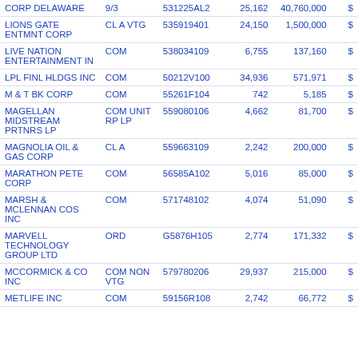| Name | Type | CUSIP | Value | Shares |  |
| --- | --- | --- | --- | --- | --- |
| CORP DELAWARE | 9/3 | 531225AL2 | 25,162 | 40,760,000 | $ |
| LIONS GATE ENTMNT CORP | CL A VTG | 535919401 | 24,150 | 1,500,000 | $ |
| LIVE NATION ENTERTAINMENT IN | COM | 538034109 | 6,755 | 137,160 | $ |
| LPL FINL HLDGS INC | COM | 50212V100 | 34,936 | 571,971 | $ |
| M & T BK CORP | COM | 55261F104 | 742 | 5,185 | $ |
| MAGELLAN MIDSTREAM PRTNRS LP | COM UNIT RP LP | 559080106 | 4,662 | 81,700 | $ |
| MAGNOLIA OIL & GAS CORP | CL A | 559663109 | 2,242 | 200,000 | $ |
| MARATHON PETE CORP | COM | 56585A102 | 5,016 | 85,000 | $ |
| MARSH & MCLENNAN COS INC | COM | 571748102 | 4,074 | 51,090 | $ |
| MARVELL TECHNOLOGY GROUP LTD | ORD | G5876H105 | 2,774 | 171,332 | $ |
| MCCORMICK & CO INC | COM NON VTG | 579780206 | 29,937 | 215,000 | $ |
| METLIFE INC | COM | 59156R108 | 2,742 | 66,772 | $ |